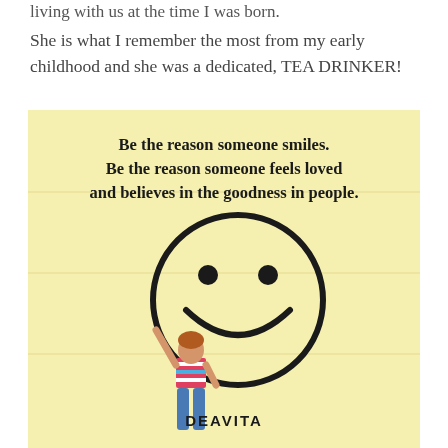living with us at the time I was born.
She is what I remember the most from my early childhood and she was a dedicated, TEA DRINKER!
[Figure (illustration): A light yellow background image showing a child drawing a large smiley face on a wall. The image contains the text: 'Be the reason someone smiles. Be the reason someone feels loved and believes in the goodness in people.' with the watermark 'DEAVITA' at the bottom center.]